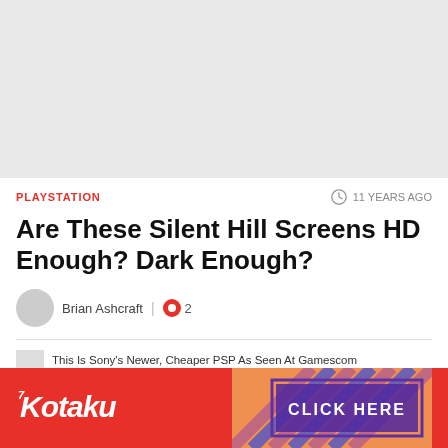[Figure (photo): Gray placeholder image at top of article]
PLAYSTATION
11 YEARS AGO
Are These Silent Hill Screens HD Enough? Dark Enough?
Brian Ashcraft  |  2
This Is Sony's Newer, Cheaper PSP As Seen At Gamescom
[Figure (advertisement): Kotaku advertisement banner with CLICK HERE button]